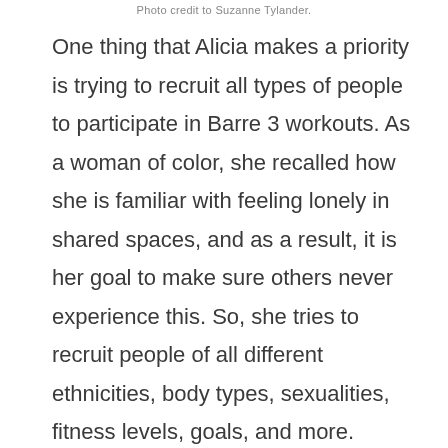Photo credit to Suzanne Tylander.
One thing that Alicia makes a priority is trying to recruit all types of people to participate in Barre 3 workouts. As a woman of color, she recalled how she is familiar with feeling lonely in shared spaces, and as a result, it is her goal to make sure others never experience this. So, she tries to recruit people of all different ethnicities, body types, sexualities, fitness levels, goals, and more. Through this, Alicia is trying to change conventional stereotypes and promote the message that boutique fitness is meant for everyone.